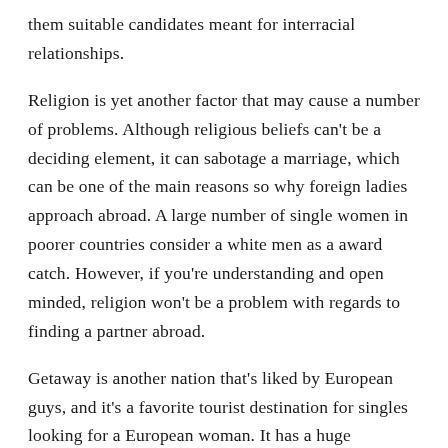them suitable candidates meant for interracial relationships.
Religion is yet another factor that may cause a number of problems. Although religious beliefs can't be a deciding element, it can sabotage a marriage, which can be one of the main reasons so why foreign ladies approach abroad. A large number of single women in poorer countries consider a white men as a award catch. However, if you're understanding and open minded, religion won't be a problem with regards to finding a partner abroad.
Getaway is another nation that's liked by European guys, and it's a favorite tourist destination for singles looking for a European woman. It has a huge percentage of single ladies, and a dating culture similar to Getaway is also common. Lastly, you may want to check out Romania. Romania is another country which has an